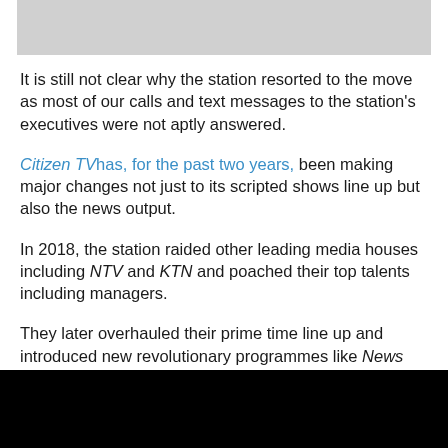[Figure (photo): Gray rectangular image at the top of the page]
It is still not clear why the station resorted to the move as most of our calls and text messages to the station's executives were not aptly answered.
Citizen TV has, for the past two years, been making major changes not just to its scripted shows line up but also the news output.
In 2018, the station raided other leading media houses including NTV and KTN and poached their top talents including managers.
They later overhauled their prime time line up and introduced new revolutionary programmes like News Gang.
[Figure (photo): Black rectangular image at the bottom of the page]